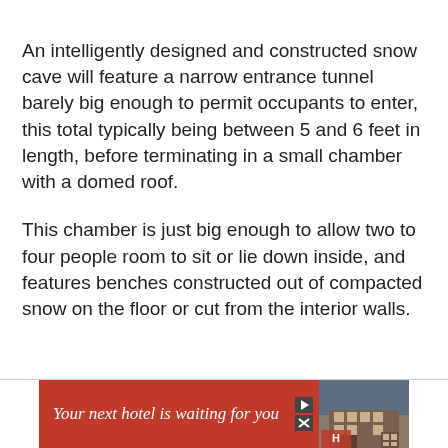An intelligently designed and constructed snow cave will feature a narrow entrance tunnel barely big enough to permit occupants to enter, this total typically being between 5 and 6 feet in length, before terminating in a small chamber with a domed roof.
This chamber is just big enough to allow two to four people room to sit or lie down inside, and features benches constructed out of compacted snow on the floor or cut from the interior walls.
[Figure (other): Advertisement banner: red background with italic text 'Your next hotel is waiting for you', play and close button icons on the right side, and a landscape photo of a building/hotel on the far right.]